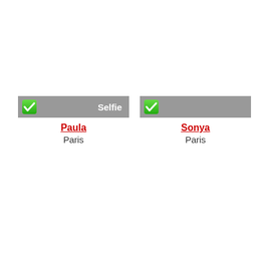[Figure (screenshot): Two side-by-side UI cards. Left card: gray header bar with green checkbox and label 'Selfie', name 'Paula' in red underlined text, location 'Paris'. Right card: gray header bar with green checkbox, no label text visible, name 'Sonya' in red underlined text, location 'Paris'.]
Paula
Paris
Sonya
Paris